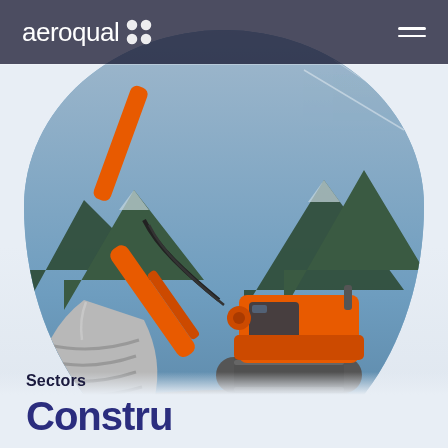aeroqual
[Figure (photo): Orange excavator/digger with large bucket scooping rocks at a quarry or construction site, set against a blue sky with mountains in the background. The image is cropped into a large oval/ellipse shape centered on the page.]
Sectors
Construction